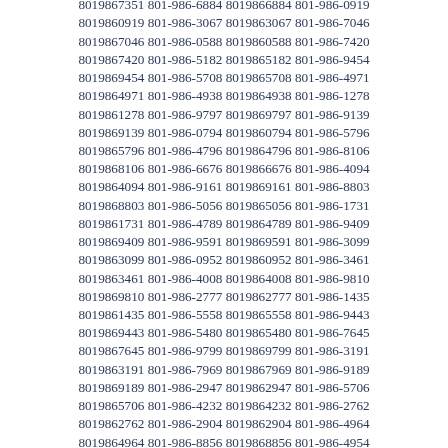8019867351 801-986-6884 8019866884 801-986-0919 8019860919 801-986-3067 8019863067 801-986-7046 8019867046 801-986-0588 8019860588 801-986-7420 8019867420 801-986-5182 8019865182 801-986-9454 8019869454 801-986-5708 8019865708 801-986-4971 8019864971 801-986-4938 8019864938 801-986-1278 8019861278 801-986-9797 8019869797 801-986-9139 8019869139 801-986-0794 8019860794 801-986-5796 8019865796 801-986-4796 8019864796 801-986-8106 8019868106 801-986-6676 8019866676 801-986-4094 8019864094 801-986-9161 8019869161 801-986-8803 8019868803 801-986-5056 8019865056 801-986-1731 8019861731 801-986-4789 8019864789 801-986-9409 8019869409 801-986-9591 8019869591 801-986-3099 8019863099 801-986-0952 8019860952 801-986-3461 8019863461 801-986-4008 8019864008 801-986-9810 8019869810 801-986-2777 8019862777 801-986-1435 8019861435 801-986-5558 8019865558 801-986-9443 8019869443 801-986-5480 8019865480 801-986-7645 8019867645 801-986-9799 8019869799 801-986-3191 8019863191 801-986-7969 8019867969 801-986-9189 8019869189 801-986-2947 8019862947 801-986-5706 8019865706 801-986-4232 8019864232 801-986-2762 8019862762 801-986-2904 8019862904 801-986-4964 8019864964 801-986-8856 8019868856 801-986-4954